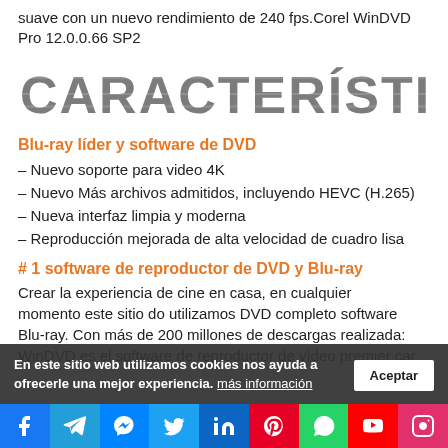suave con un nuevo rendimiento de 240 fps.Corel WinDVD Pro 12.0.0.66 SP2
[Figure (other): Decorative stamp-style heading text reading CARACTERÍSTICAS]
Blu-ray líder y software de DVD
– Nuevo soporte para video 4K
– Nuevo Más archivos admitidos, incluyendo HEVC (H.265)
– Nueva interfaz limpia y moderna
– Reproducción mejorada de alta velocidad de cuadro lisa
# 1 software de reproductor de DVD y Blu-ray
Crear la experiencia de cine en casa, en cualquier momento este sitio do utilizamos DVD completo software Blu-ray. Con más de 200 millones de descargas realizada: WinDVD es el software de reproductor de vídeo premier car
En este sitio web utilizamos cookies nos ayuda a ofrecerle una mejor experiencia. más información
[Figure (other): Social media icon bar with Facebook, Telegram, Messenger, Twitter, LinkedIn, Pinterest, WhatsApp, YouTube, Instagram]